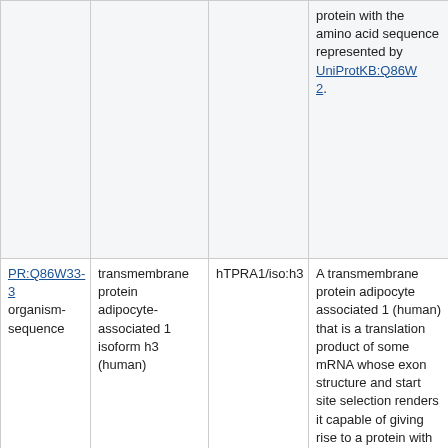|  |  |  |  |
| --- | --- | --- | --- |
|  |  |  | protein with the amino acid sequence represented by UniProtKB:Q86W...2. |
| PR:Q86W33-3
organism-sequence | transmembrane protein adipocyte-associated 1 isoform h3 (human) | hTPRA1/iso:h3 | A transmembrane protein adipocyte associated 1 (human) that is a translation product of some mRNA whose exon structure and start site selection renders it capable of giving rise to a protein with the amino acid sequence represented by UniProtKB:Q86W...3. |